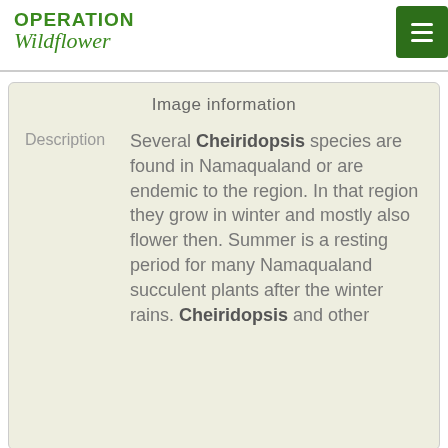OPERATION Wildflower
Image information
Several Cheiridopsis species are found in Namaqualand or are endemic to the region. In that region they grow in winter and mostly also flower then. Summer is a resting period for many Namaqualand succulent plants after the winter rains. Cheiridopsis and other